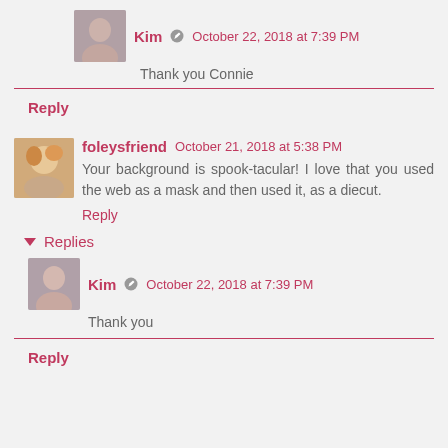Kim  October 22, 2018 at 7:39 PM
Thank you Connie
Reply
foleysfriend  October 21, 2018 at 5:38 PM
Your background is spook-tacular! I love that you used the web as a mask and then used it, as a diecut.
Reply
Replies
Kim  October 22, 2018 at 7:39 PM
Thank you
Reply